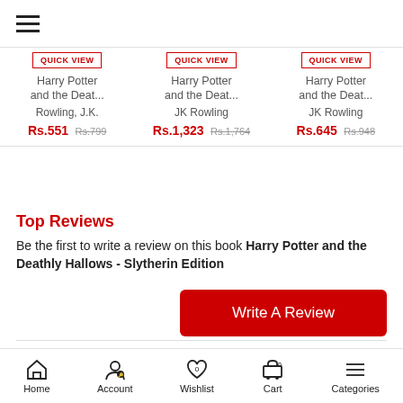[Figure (screenshot): Hamburger menu icon (three horizontal lines)]
QUICK VIEW
Harry Potter and the Deat...
Rowling, J.K.
Rs.551 Rs.799
QUICK VIEW
Harry Potter and the Deat...
JK Rowling
Rs.1,323 Rs.1,764
QUICK VIEW
Harry Potter and the Deat...
JK Rowling
Rs.645 Rs.948
Top Reviews
Be the first to write a review on this book Harry Potter and the Deathly Hallows - Slytherin Edition
Write A Review
New Arrivals
SEE ALL
Home  Account  Wishlist  Cart  Categories